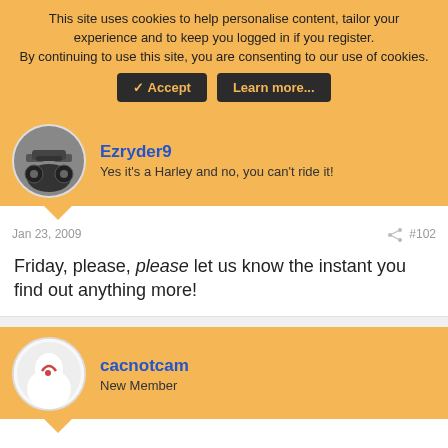This site uses cookies to help personalise content, tailor your experience and to keep you logged in if you register. By continuing to use this site, you are consenting to our use of cookies.
Ezryder9
Yes it's a Harley and no, you can't ride it!
Jan 23, 2009  #102
Friday, please, please let us know the instant you find out anything more!
cacnotcam
New Member